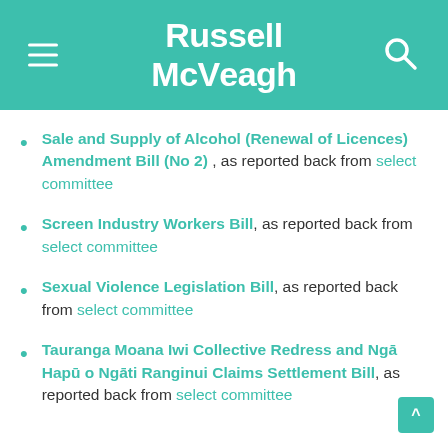Russell McVeagh
Sale and Supply of Alcohol (Renewal of Licences) Amendment Bill (No 2) , as reported back from select committee
Screen Industry Workers Bill, as reported back from select committee
Sexual Violence Legislation Bill, as reported back from select committee
Tauranga Moana Iwi Collective Redress and Ngā Hapū o Ngāti Ranginui Claims Settlement Bill, as reported back from select committee